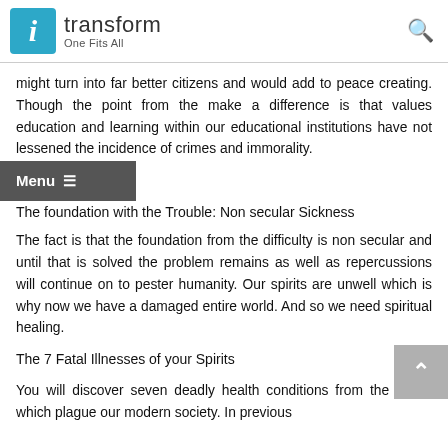i transform One Fits All
might turn into far better citizens and would add to peace creating. Though the point from the make a difference is that values education and learning within our educational institutions have not lessened the incidence of crimes and immorality.
The foundation with the Trouble: Non secular Sickness
The fact is that the foundation from the difficulty is non secular and until that is solved the problem remains as well as repercussions will continue on to pester humanity. Our spirits are unwell which is why now we have a damaged entire world. And so we need spiritual healing.
The 7 Fatal Illnesses of your Spirits
You will discover seven deadly health conditions from the spirits which plague our modern society. In previous